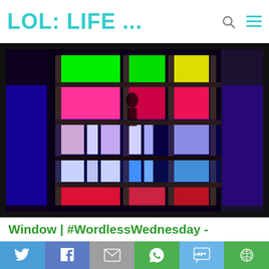LOL: LIFE ...
[Figure (photo): Colorful illuminated window with panes lit in green, red, pink, blue, white, and cyan colors against a dark background.]
Window | #WordlessWednesday -
[Figure (infographic): Social share bar with Twitter, Facebook, Email, WhatsApp, SMS, and More buttons.]